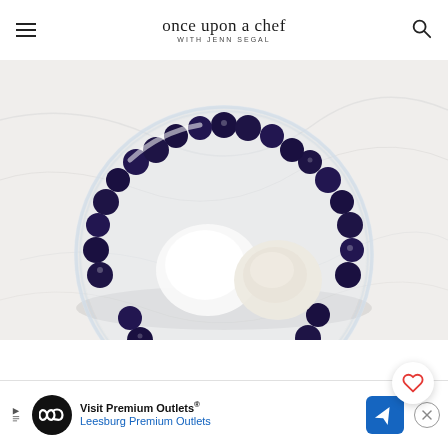once upon a chef WITH JENN SEGAL
[Figure (photo): Overhead view of a glass bowl on a marble surface containing fresh blueberries arranged around the edge with white sugar and flour/cornstarch in the center, as if being mixed for a blueberry filling or dessert]
[Figure (other): Circular heart/favorite button with a heart icon, white background with drop shadow]
[Figure (other): Advertisement banner for Visit Premium Outlets - Leesburg Premium Outlets with logo, navigation arrow icon, and close button]